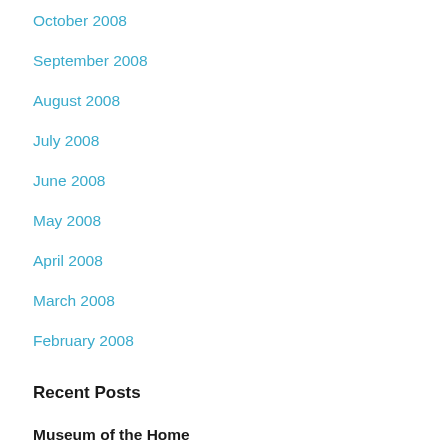October 2008
September 2008
August 2008
July 2008
June 2008
May 2008
April 2008
March 2008
February 2008
Recent Posts
Museum of the Home